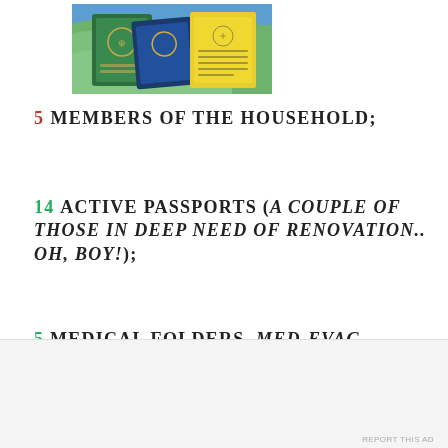[Figure (photo): Photo of travel passports and a yellow WHO vaccination booklet on a colorful map background]
5 MEMBERS OF THE HOUSEHOLD;
14 ACTIVE PASSPORTS (A COUPLE OF THOSE IN DEEP NEED OF RENOVATION.. OH, BOY!);
5 MEDICAL FOLDERS, MED-EVAC REPORTS, CONSULTATION REPORTS, REQUESTS FOR EXAMS, AND
Advertisements
AUT⊙MATTIC
Build a better web and a better world.